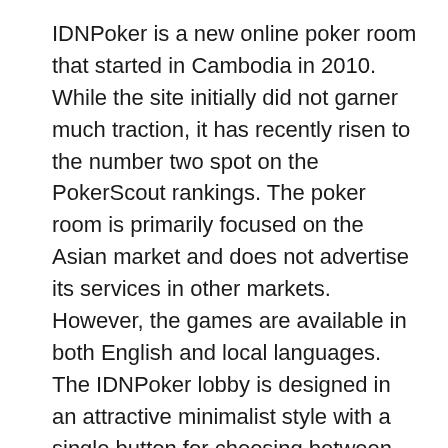IDNPoker is a new online poker room that started in Cambodia in 2010. While the site initially did not garner much traction, it has recently risen to the number two spot on the PokerScout rankings. The poker room is primarily focused on the Asian market and does not advertise its services in other markets. However, the games are available in both English and local languages. The IDNPoker lobby is designed in an attractive minimalist style with a single button for choosing between cash games and tournaments. It also lacks a waiting list and is fully translated into English. The IDNPoker website and poker client are both supported by a strong promotional campaign in the Asian countries, and the website is integrated into local charity events and gaming conferences.
IDN Poker offers a variety of payment methods, including PayPal and Visa. These methods enable